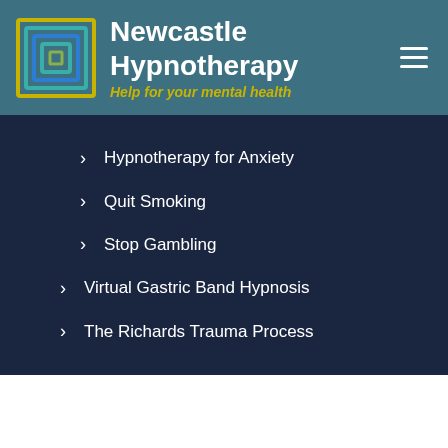[Figure (logo): Newcastle Hypnotherapy logo with concentric square pattern in teal, blue, and yellow colors]
Newcastle Hypnotherapy
Help for your mental health
Hypnotherapy for Anxiety
Quit Smoking
Stop Gambling
Virtual Gastric Band Hypnosis
The Richards Trauma Process